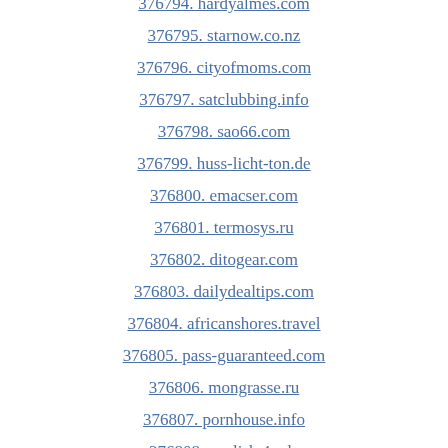376794. hardyalmes.com
376795. starnow.co.nz
376796. cityofmoms.com
376797. satclubbing.info
376798. sao66.com
376799. huss-licht-ton.de
376800. emacser.com
376801. termosys.ru
376802. ditogear.com
376803. dailydealtips.com
376804. africanshores.travel
376805. pass-guaranteed.com
376806. mongrasse.ru
376807. pornhouse.info
376808. english.4u.de